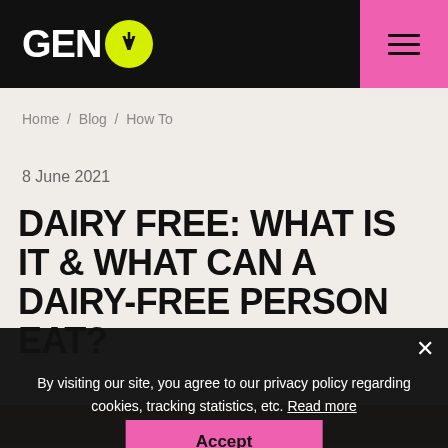GEN V — navigation header with logo and hamburger menu
Home / Blog / How To
8 June 2021
DAIRY FREE: WHAT IS IT & WHAT CAN A DAIRY-FREE PERSON EAT?
By visiting our site, you agree to our privacy policy regarding cookies, tracking statistics, etc. Read more
Accept
[Figure (photo): Partial photo of a person visible at the bottom of the page behind the cookie consent overlay]